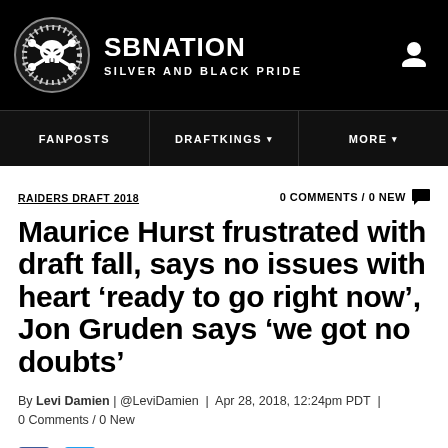SBNATION / SILVER AND BLACK PRIDE
FANPOSTS | DRAFTKINGS | MORE
RAIDERS DRAFT 2018
0 COMMENTS / 0 NEW
Maurice Hurst frustrated with draft fall, says no issues with heart ‘ready to go right now’, Jon Gruden says ‘we got no doubts’
By Levi Damien | @LeviDamien | Apr 28, 2018, 12:24pm PDT | 0 Comments / 0 New